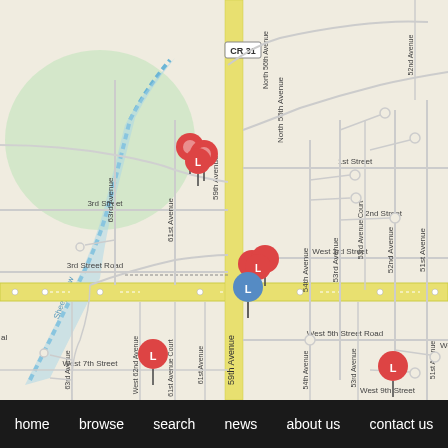[Figure (map): Street map showing an area with roads including CR 31, 59th Avenue, 63rd Avenue, 61st Avenue, 54th Avenue, 53rd Avenue, 52nd Avenue, 51st Avenue, 1st Street, 2nd Street, 3rd Street, 3rd Street Road, West 3rd Street, West 5th Street Road, West 7th Street, West 9th Street, North 55th Avenue, North 56th Avenue. A water feature labeled Sheep Draw runs diagonally. Several location pins are visible: multiple red pins and blue pins labeled 'L' clustered around 59th Avenue and 3rd Street area, one red pin bottom-left near 62nd Avenue and 7th Street, one red pin bottom-right near 51st Avenue and 9th Street.]
home   browse   search   news   about us   contact us